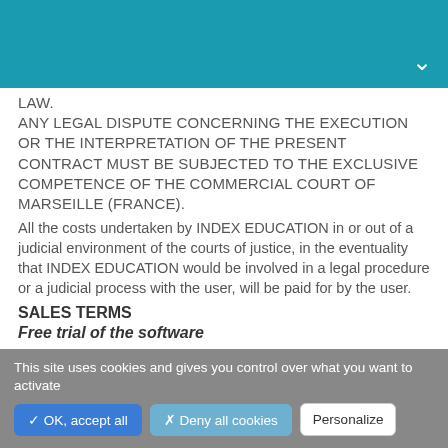LAW.
ANY LEGAL DISPUTE CONCERNING THE EXECUTION OR THE INTERPRETATION OF THE PRESENT CONTRACT MUST BE SUBJECTED TO THE EXCLUSIVE COMPETENCE OF THE COMMERCIAL COURT OF MARSEILLE (FRANCE).
All the costs undertaken by INDEX EDUCATION in or out of a judicial environment of the courts of justice, in the eventuality that INDEX EDUCATION would be involved in a legal procedure or a judicial process with the user, will be paid for by the user.
SALES TERMS
Free trial of the software
This site uses cookies and gives you control over what you want to activate